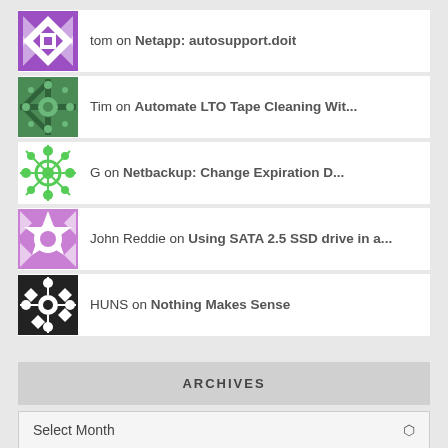tom on Netapp: autosupport.doit
Tim on Automate LTO Tape Cleaning Wit...
G on Netbackup: Change Expiration D...
John Reddie on Using SATA 2.5 SSD drive in a...
HUNS on Nothing Makes Sense
ARCHIVES
Select Month